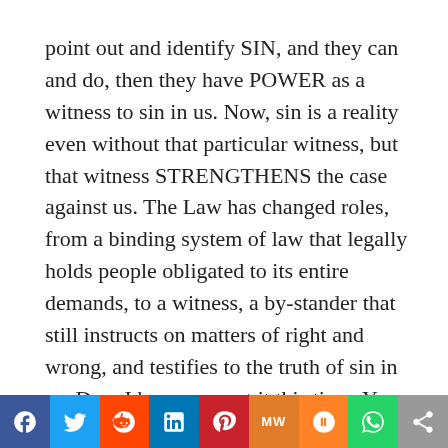point out and identify SIN, and they can and do, then they have POWER as a witness to sin in us. Now, sin is a reality even without that particular witness, but that witness STRENGTHENS the case against us. The Law has changed roles, from a binding system of law that legally holds people obligated to its entire demands, to a witness, a by-stander that still instructs on matters of right and wrong, and testifies to the truth of sin in us. Don, I hope you got it this time. Your argument from 1 Cor.15 is invalid.
Provision of a Covenant Remains Valid